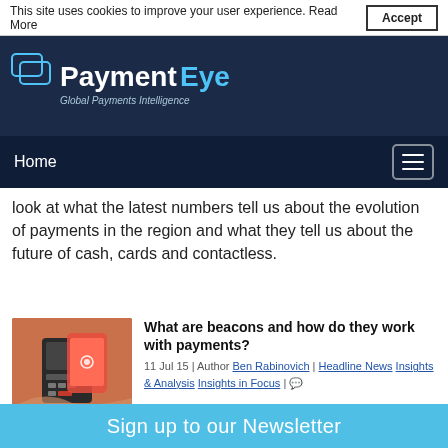This site uses cookies to improve your user experience. Read More  Accept
[Figure (logo): PaymentEye logo - white and cyan text on dark navy background, with interlocked card icons. Tagline: Global Payments Intelligence]
Home
look at what the latest numbers tell us about the evolution of payments in the region and what they tell us about the future of cash, cards and contactless.
[Figure (photo): Hand holding a smartphone near a card payment terminal]
What are beacons and how do they work with payments?
11 Jul 15 | Author Ben Rabinovich | Headline News Insights & Analysis Insights in Focus |
NFC has revolutionised card and mobile payments payments by making them extremely convenient to
Sign up to our Newsletter